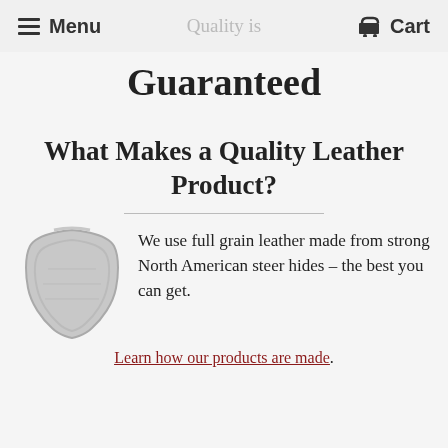Menu | Quality is | Cart
Guaranteed
What Makes a Quality Leather Product?
[Figure (illustration): Gray leather hide shield/crest icon]
We use full grain leather made from strong North American steer hides – the best you can get.
Learn how our products are made.